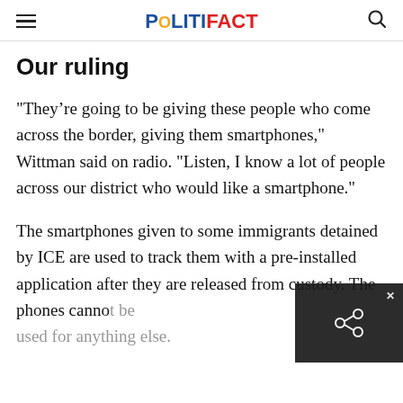POLITIFACT
Our ruling
"They’re going to be giving these people who come across the border, giving them smartphones," Wittman said on radio. "Listen, I know a lot of people across our district who would like a smartphone."
The smartphones given to some immigrants detained by ICE are used to track them with a pre-installed application after they are released from custody. The phones cannot be used for anything else.